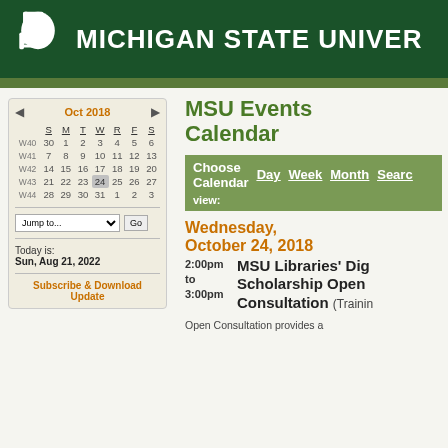MICHIGAN STATE UNIVERSITY
MSU Events Calendar
[Figure (screenshot): Small monthly calendar widget showing October 2018 with week numbers W40-W44, navigation arrows, a Jump to dropdown, today's date (Sun, Aug 21, 2022), and a Subscribe & Download Update link.]
Choose Calendar view:   Day   Week   Month   Search
Wednesday, October 24, 2018
2:00pm to 3:00pm   MSU Libraries' Digital Scholarship Open Consultation (Training)
Open Consultation provides a...